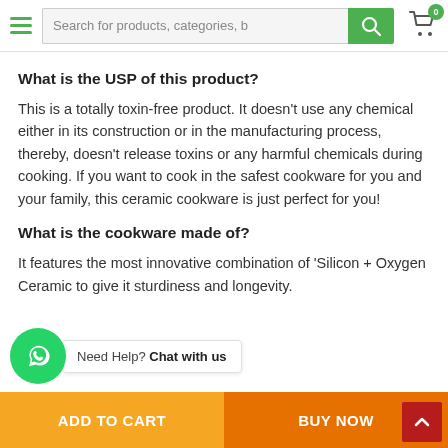Search for products, categories, b
What is the USP of this product?
This is a totally toxin-free product. It doesn't use any chemical either in its construction or in the manufacturing process, thereby, doesn't release toxins or any harmful chemicals during cooking. If you want to cook in the safest cookware for you and your family, this ceramic cookware is just perfect for you!
What is the cookware made of?
It features the most innovative combination of 'Silicon + Oxygen Ceramic to give it sturdiness and longevity.
Need Help? Chat with us | ADD TO CART | BUY NOW